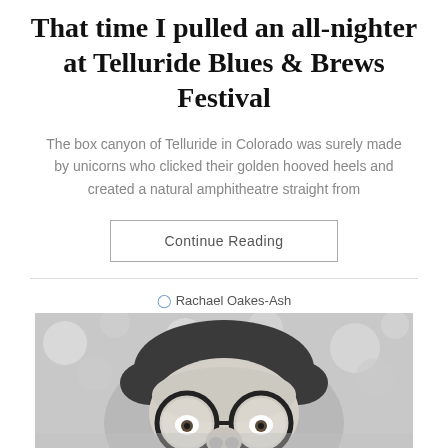That time I pulled an all-nighter at Telluride Blues & Brews Festival
The box canyon of Telluride in Colorado was surely made by unicorns who clicked their golden hooved heels and created a natural amphitheatre straight from
Continue Reading
Rachael Oakes-Ash
[Figure (photo): Black and white close-up photo of a person with curly hair wearing large round novelty glasses with a fake nose attached, looking upward.]